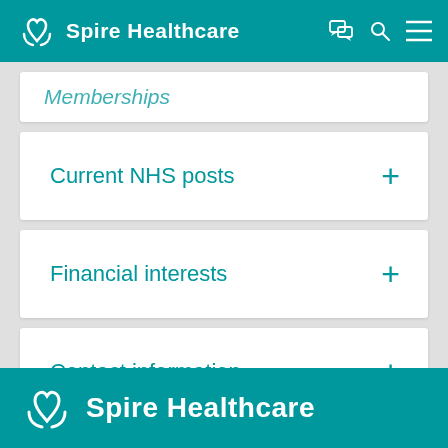Spire Healthcare
Memberships
Current NHS posts +
Financial interests +
Contact information +
Spire Healthcare